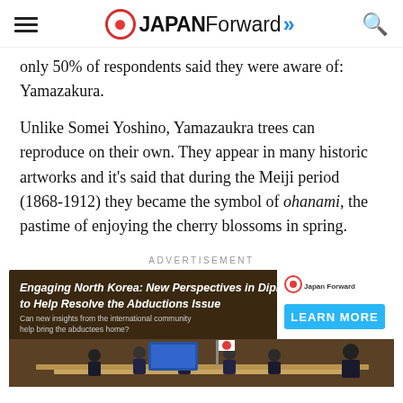JAPAN Forward
only 50% of respondents said they were aware of: Yamazakura.
Unlike Somei Yoshino, Yamazaukra trees can reproduce on their own. They appear in many historic artworks and it's said that during the Meiji period (1868-1912) they became the symbol of ohanami, the pastime of enjoying the cherry blossoms in spring.
ADVERTISEMENT
[Figure (infographic): Advertisement banner for 'Engaging North Korea: New Perspectives in Diplomacy to Help Resolve the Abductions Issue' with a LEARN MORE button and Japan Forward logo, showing a panel discussion photo at the bottom.]